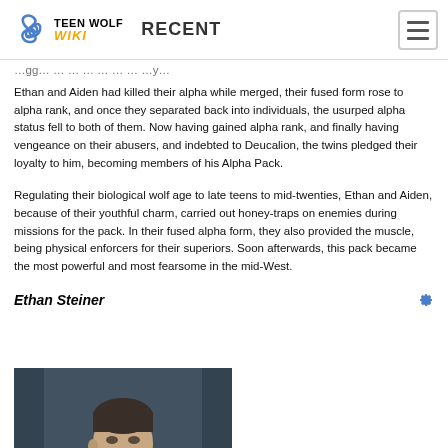Teen Wolf Wiki — RECENT
Ethan and Aiden had killed their alpha while merged, their fused form rose to alpha rank, and once they separated back into individuals, the usurped alpha status fell to both of them. Now having gained alpha rank, and finally having vengeance on their abusers, and indebted to Deucalion, the twins pledged their loyalty to him, becoming members of his Alpha Pack.
Regulating their biological wolf age to late teens to mid-twenties, Ethan and Aiden, because of their youthful charm, carried out honey-traps on enemies during missions for the pack. In their fused alpha form, they also provided the muscle, being physical enforcers for their superiors. Soon afterwards, this pack became the most powerful and most fearsome in the mid-West.
Ethan Steiner
[Figure (photo): Close-up photo of a young man with short dark hair, facing slightly to the side, dark blurred background.]